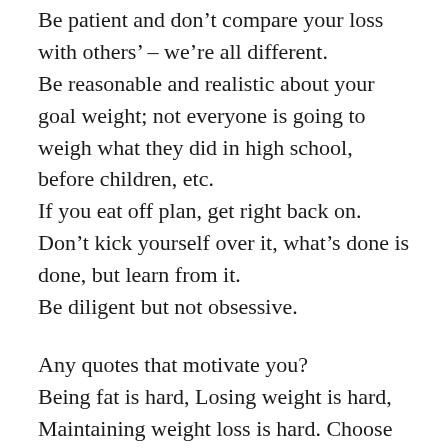Be patient and don't compare your loss with others' – we're all different.
Be reasonable and realistic about your goal weight; not everyone is going to weigh what they did in high school, before children, etc.
If you eat off plan, get right back on. Don't kick yourself over it, what's done is done, but learn from it.
Be diligent but not obsessive.
Any quotes that motivate you?
Being fat is hard, Losing weight is hard, Maintaining weight loss is hard. Choose your hard.